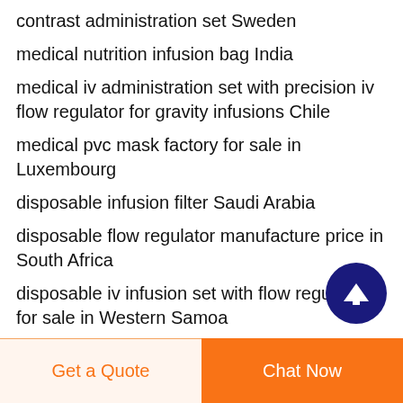contrast administration set Sweden
medical nutrition infusion bag India
medical iv administration set with precision iv flow regulator for gravity infusions Chile
medical pvc mask factory for sale in Luxembourg
disposable infusion filter Saudi Arabia
disposable flow regulator manufacture price in South Africa
disposable iv infusion set with flow regulator for sale in Western Samoa